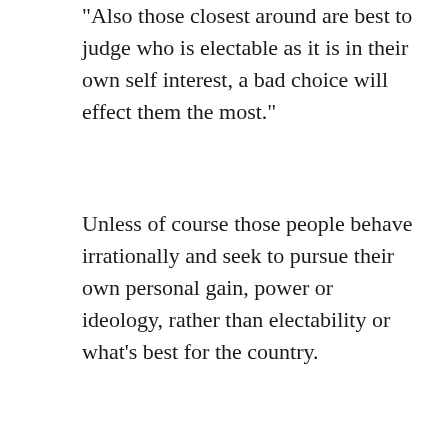“Also those closest around are best to judge who is electable as it is in their own self interest, a bad choice will effect them the most.”
Unless of course those people behave irrationally and seek to pursue their own personal gain, power or ideology, rather than electability or what’s best for the country.
Nah.. that would never happen, right?
Confessions
Sunday, September 5, 2021 at 7:20 pm